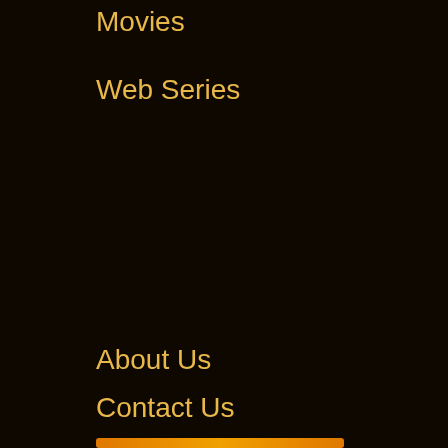Movies
Web Series
About Us
Contact Us
Disclaimer
DMCA
Privacy Policy